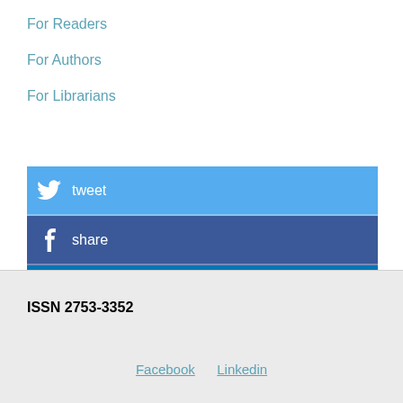For Readers
For Authors
For Librarians
[Figure (infographic): Three social media share buttons stacked vertically: Twitter (tweet), Facebook (share), LinkedIn (share)]
ISSN 2753-3352
Facebook   Linkedin